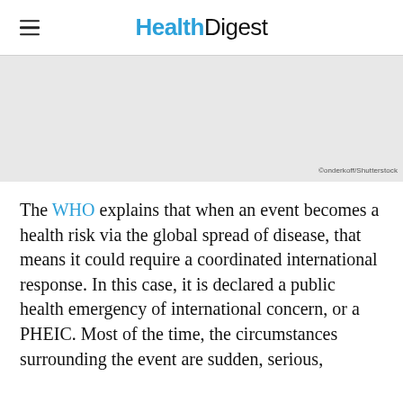HealthDigest
[Figure (photo): Gray placeholder image area representing a photo with Shutterstock credit]
©onderkoff/Shutterstock
The WHO explains that when an event becomes a health risk via the global spread of disease, that means it could require a coordinated international response. In this case, it is declared a public health emergency of international concern, or a PHEIC. Most of the time, the circumstances surrounding the event are sudden, serious,